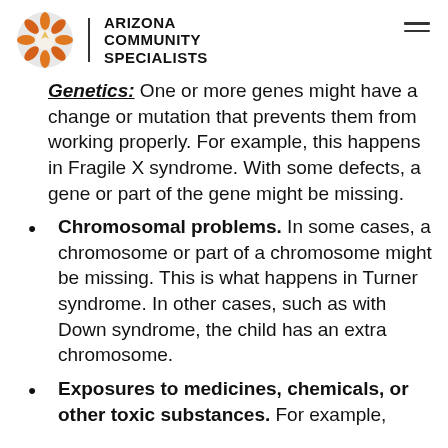Arizona Community Specialists
Genetics: One or more genes might have a change or mutation that prevents them from working properly. For example, this happens in Fragile X syndrome. With some defects, a gene or part of the gene might be missing.
Chromosomal problems. In some cases, a chromosome or part of a chromosome might be missing. This is what happens in Turner syndrome. In other cases, such as with Down syndrome, the child has an extra chromosome.
Exposures to medicines, chemicals, or other toxic substances. For example,